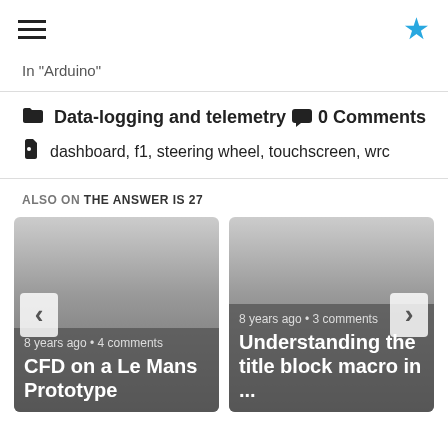☰  ★
In "Arduino"
Data-logging and telemetry   0 Comments
dashboard, f1, steering wheel, touchscreen, wrc
ALSO ON THE ANSWER IS 27
[Figure (screenshot): Card: 8 years ago • 4 comments / CFD on a Le Mans Prototype]
[Figure (screenshot): Card: 8 years ago • 3 comments / Understanding the title block macro in ...]